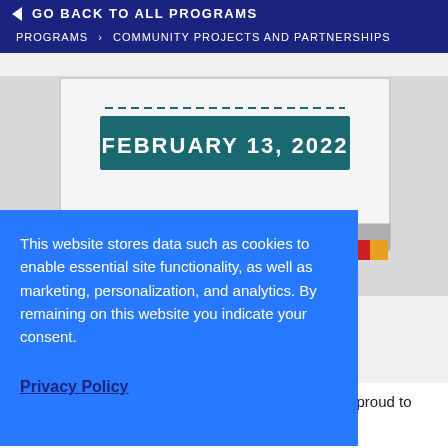◀ GO BACK TO ALL PROGRAMS
PROGRAMS › COMMUNITY PROJECTS AND PARTNERSHIPS
[Figure (illustration): Back of a truck illustration with a teal banner reading 'FEBRUARY 13, 2022' in white bold text, with truck lights and bumper visible]
This website stores data such as cookies to enable essential site functionality, as well as marketing, personalization, and analytics. By remaining on this website you indicate your consent.
Privacy Policy
nity to live and model our Jewish values. I am very proud to